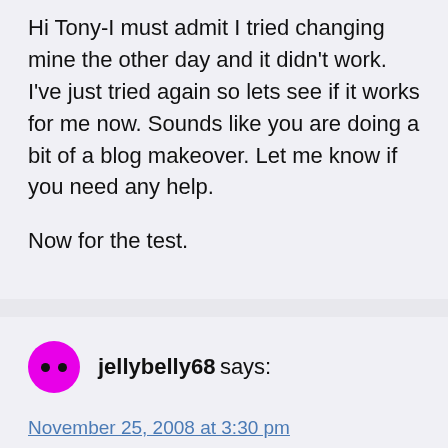Hi Tony-I must admit I tried changing mine the other day and it didn't work. I've just tried again so lets see if it works for me now. Sounds like you are doing a bit of a blog makeover. Let me know if you need any help.

Now for the test.
jellybelly68 says:
November 25, 2008 at 3:30 pm